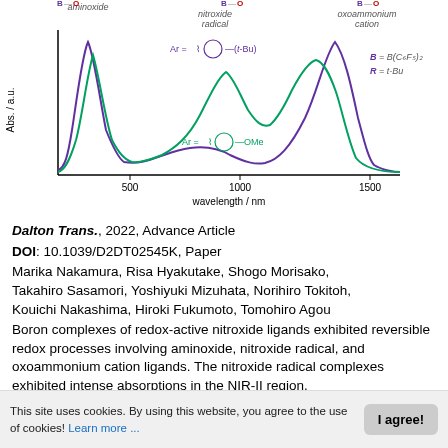[Figure (continuous-plot): UV-Vis-NIR absorption spectra chart showing two curves (purple and green) for aminoxide, nitroxide radical, and oxoammonium cation boron complexes. X-axis: wavelength / nm (range ~300-1600). Y-axis: Abs. / a.u. Purple curve has peaks near 430nm and 950nm; green curve has peaks near 430nm, 700nm, and 850nm. Annotations: Ar = phenyl-(t-Bu) for purple, Ar = phenyl-OMe for green. B = B(C6F5)2, R = t-Bu.]
Dalton Trans., 2022, Advance Article
DOI: 10.1039/D2DT02545K, Paper
Marika Nakamura, Risa Hyakutake, Shogo Morisako, Takahiro Sasamori, Yoshiyuki Mizuhata, Norihiro Tokitoh, Kouichi Nakashima, Hiroki Fukumoto, Tomohiro Agou
Boron complexes of redox-active nitroxide ligands exhibited reversible redox processes involving aminoxide, nitroxide radical, and oxoammonium cation ligands. The nitroxide radical complexes exhibited intense absorptions in the NIR-II region.
This site uses cookies. By using this website, you agree to the use of cookies! Learn more ...